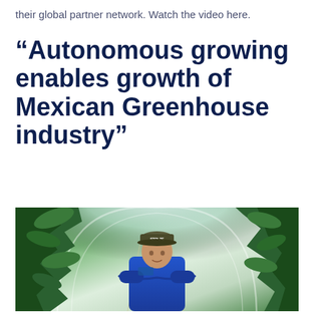their global partner network. Watch the video here.
“Autonomous growing enables growth of Mexican Greenhouse industry”
[Figure (photo): A man wearing a cap with 'STOLZE' written on it and a blue jacket stands with arms crossed inside a greenhouse, surrounded by lush green plants and a curved greenhouse structure visible in the background.]